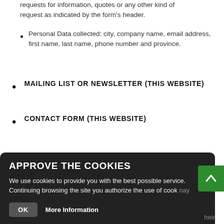requests for information, quotes or any other kind of request as indicated by the form's header.
Personal Data collected: city, company name, email address, first name, last name, phone number and province.
MAILING LIST OR NEWSLETTER (THIS WEBSITE)
CONTACT FORM (THIS WEBSITE)
CONTENT COMMENTING
APPROVE THE COOKIES
We use cookies to provide you with the best possible service. Continuing browsing the site you authorize the use of cook
OK   More Information